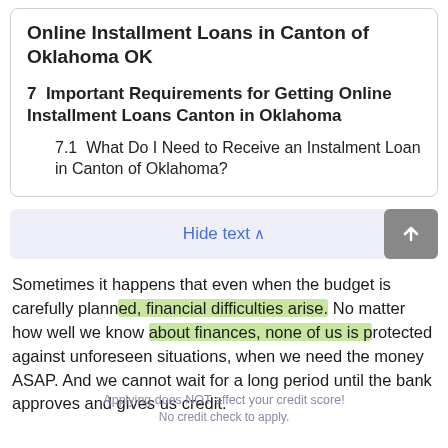Online Installment Loans in Canton of Oklahoma OK
7  Important Requirements for Getting Online Installment Loans Canton in Oklahoma
7.1  What Do I Need to Receive an Instalment Loan in Canton of Oklahoma?
Hide text ^
Sometimes it happens that even when the budget is carefully planned, financial difficulties arise. No matter how well we know about finances, none of us is protected against unforeseen situations, when we need the money ASAP. And we cannot wait for a long period until the bank approves and gives us credit.
Applying does NOT affect your credit score!
No credit check to apply.